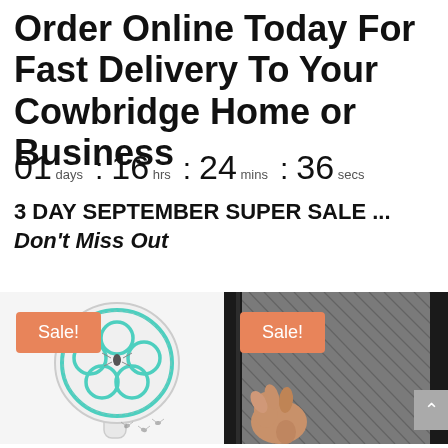Order Online Today For Fast Delivery To Your Cowbridge Home or Business
01 days : 16 hrs : 24 mins : 36 secs
3 DAY SEPTEMBER SUPER SALE ... Don't Miss Out
[Figure (photo): Electric mosquito zapper racket with teal mesh circles on white oval head, dead mosquitoes illustrated, with orange 'Sale!' badge]
[Figure (photo): Magnetic screen door mesh being held open with a hand, black frame edge visible, with orange 'Sale!' badge]
NEW Electric Mosquito...
Magnetic Screen Door M...